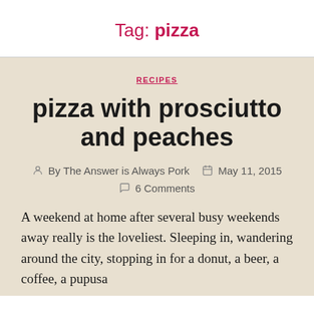Tag: pizza
RECIPES
pizza with prosciutto and peaches
By The Answer is Always Pork   May 11, 2015
6 Comments
A weekend at home after several busy weekends away really is the loveliest. Sleeping in, wandering around the city, stopping in for a donut, a beer, a coffee, a pupusa